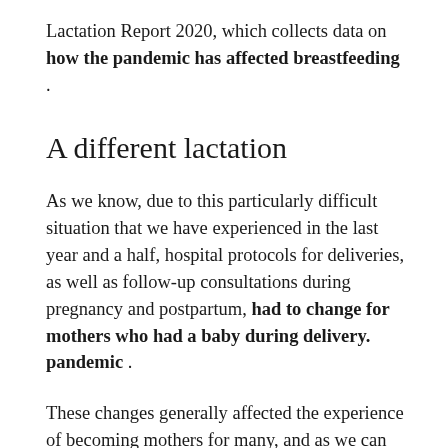Lactation Report 2020, which collects data on how the pandemic has affected breastfeeding .
A different lactation
As we know, due to this particularly difficult situation that we have experienced in the last year and a half, hospital protocols for deliveries, as well as follow-up consultations during pregnancy and postpartum, had to change for mothers who had a baby during delivery. pandemic .
These changes generally affected the experience of becoming mothers for many, and as we can see in the report " This is how the pandemic has affected